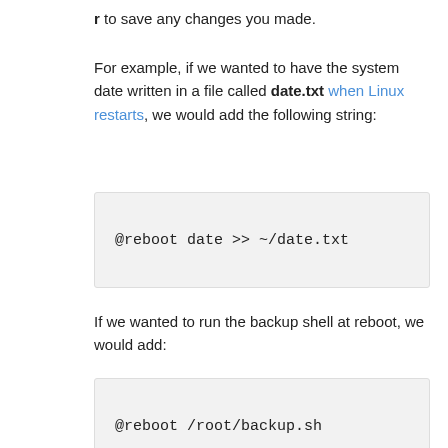r to save any changes you made.
For example, if we wanted to have the system date written in a file called date.txt when Linux restarts, we would add the following string:
[Figure (screenshot): Code block showing: @reboot date >> ~/date.txt]
If we wanted to run the backup shell at reboot, we would add:
[Figure (screenshot): Code block showing: @reboot /root/backup.sh]
[Figure (screenshot): Terminal screenshot showing GNU nano 4.8 editor with /tmp/crontab.Vohotv/crontab file open, displaying cron instructions in red text]